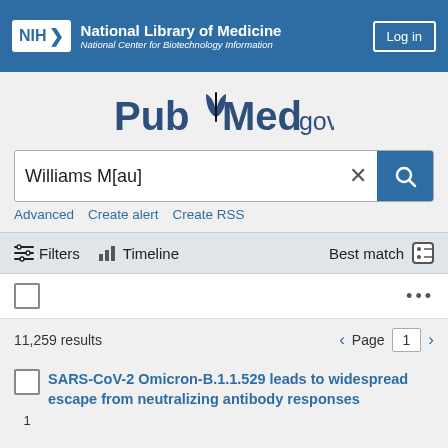NIH National Library of Medicine — National Center for Biotechnology Information — Log in
[Figure (logo): PubMed.gov logo with book icon]
Williams M[au]
Advanced   Create alert   Create RSS
Filters   Timeline   Best match
11,259 results   Page 1
SARS-CoV-2 Omicron-B.1.1.529 leads to widespread escape from neutralizing antibody responses